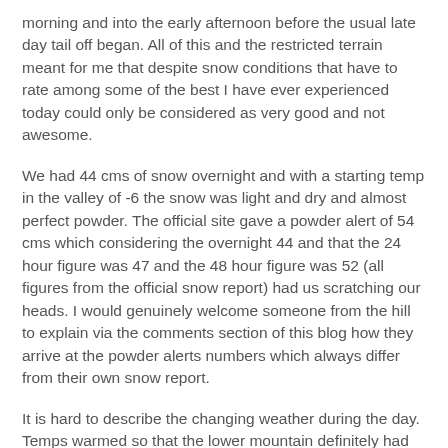morning and into the early afternoon before the usual late day tail off began. All of this and the restricted terrain meant for me that despite snow conditions that have to rate among some of the best I have ever experienced today could only be considered as very good and not awesome.
We had 44 cms of snow overnight and with a starting temp in the valley of -6 the snow was light and dry and almost perfect powder. The official site gave a powder alert of 54 cms which considering the overnight 44 and that the 24 hour figure was 47 and the 48 hour figure was 52 (all figures from the official snow report) had us scratching our heads. I would genuinely welcome someone from the hill to explain via the comments section of this blog how they arrive at the powder alerts numbers which always differ from their own snow report.
It is hard to describe the changing weather during the day. Temps warmed so that the lower mountain definitely had some plus temps by the afternoon making the snow heavier and more resistant. By the end of the day things had cooled and we drove home in valley temps of -1 and cooler by a